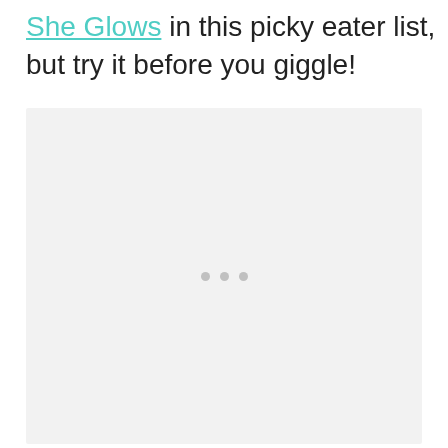She Glows in this picky eater list, but try it before you giggle!
[Figure (photo): A large light gray placeholder image box with three small gray dots centered within it, indicating a loading or missing image state.]